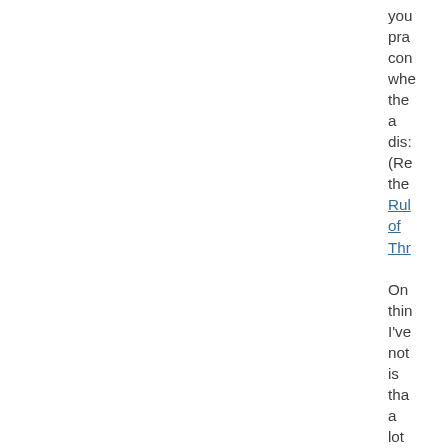you practice considering whether the a dis: (Re the Rule of Three On this I've not is that a lot of bot wa